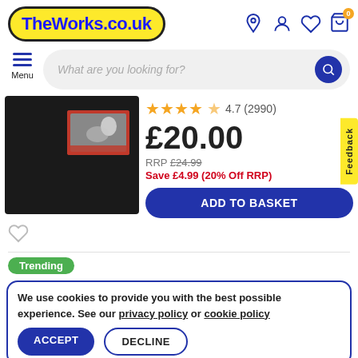[Figure (logo): TheWorks.co.uk logo in yellow rounded rectangle with blue text]
[Figure (screenshot): Header icons: location pin, user, heart, basket with 0 badge]
[Figure (screenshot): Menu hamburger icon with Menu label and search bar saying What are you looking for?]
[Figure (photo): Product image: black canvas board with small photo on red background inset]
4.7 (2990)
£20.00
RRP £24.99
Save £4.99 (20% Off RRP)
ADD TO BASKET
Feedback
Trending
We use cookies to provide you with the best possible experience. See our privacy policy or cookie policy
ACCEPT
DECLINE